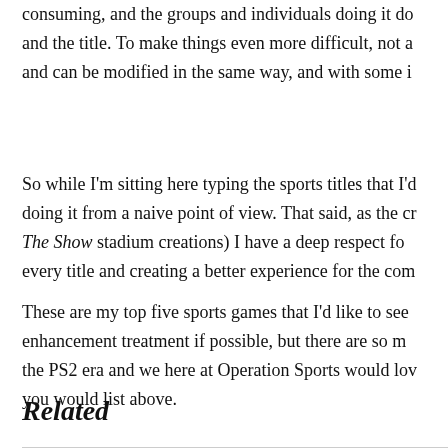consuming, and the groups and individuals doing it do and the title. To make things even more difficult, not a and can be modified in the same way, and with some i
So while I'm sitting here typing the sports titles that I'd doing it from a naive point of view. That said, as the cr The Show stadium creations) I have a deep respect fo every title and creating a better experience for the com
These are my top five sports games that I'd like to see enhancement treatment if possible, but there are so m the PS2 era and we here at Operation Sports would lov you would list above.
Related